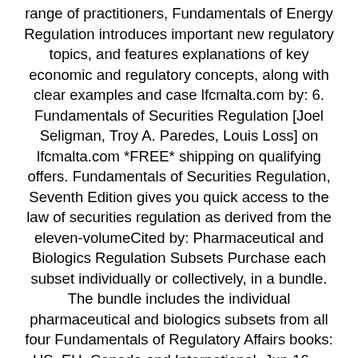range of practitioners, Fundamentals of Energy Regulation introduces important new regulatory topics, and features explanations of key economic and regulatory concepts, along with clear examples and case lfcmalta.com by: 6. Fundamentals of Securities Regulation [Joel Seligman, Troy A. Paredes, Louis Loss] on lfcmalta.com *FREE* shipping on qualifying offers. Fundamentals of Securities Regulation, Seventh Edition gives you quick access to the law of securities regulation as derived from the eleven-volumeCited by: Pharmaceutical and Biologics Regulation Subsets Purchase each subset individually or collectively, in a bundle. The bundle includes the individual pharmaceutical and biologics subsets from all four Fundamentals of Regulatory Affairs books: US, EU, Canada and International. Jun 16,  · Dr. James R. Robinson, a physiologist at the University of Otago Medical School in New Zealand, has written a small